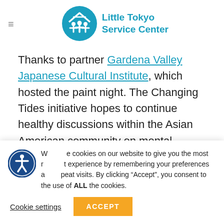Little Tokyo Service Center
Thanks to partner Gardena Valley Japanese Cultural Institute, which hosted the paint night. The Changing Tides initiative hopes to continue healthy discussions within the Asian American community on mental
We use cookies on our website to give you the most relevant experience by remembering your preferences and repeat visits. By clicking "Accept", you consent to the use of ALL the cookies.
Cookie settings | ACCEPT